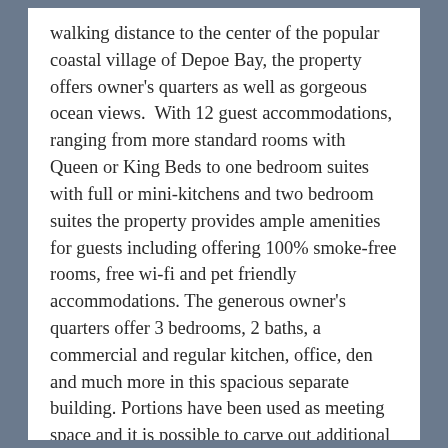walking distance to the center of the popular coastal village of Depoe Bay, the property offers owner's quarters as well as gorgeous ocean views.  With 12 guest accommodations, ranging from more standard rooms with Queen or King Beds to one bedroom suites with full or mini-kitchens and two bedroom suites the property provides ample amenities for guests including offering 100% smoke-free rooms, free wi-fi and pet friendly accommodations. The generous owner's quarters offer 3 bedrooms, 2 baths, a commercial and regular kitchen, office, den and much more in this spacious separate building. Portions have been used as meeting space and it is possible to carve out additional rental units if desired.